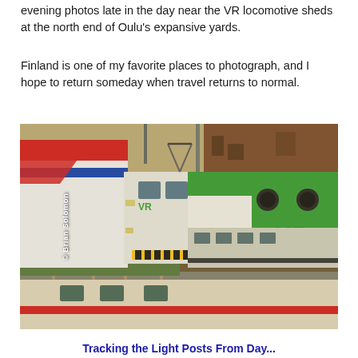evening photos late in the day near the VR locomotive sheds at the north end of Oulu's expansive yards.
Finland is one of my favorite places to photograph, and I hope to return someday when travel returns to normal.
[Figure (photo): VR green and white electric locomotive with 'VR' branding at Oulu train yards, with red/white passenger cars visible. Photo credit: © Brian Solomon]
Tracking the Light Posts From Day...